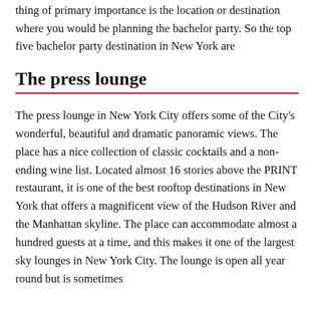thing of primary importance is the location or destination where you would be planning the bachelor party. So the top five bachelor party destination in New York are
The press lounge
The press lounge in New York City offers some of the City's wonderful, beautiful and dramatic panoramic views. The place has a nice collection of classic cocktails and a non-ending wine list. Located almost 16 stories above the PRINT restaurant, it is one of the best rooftop destinations in New York that offers a magnificent view of the Hudson River and the Manhattan skyline. The place can accommodate almost a hundred guests at a time, and this makes it one of the largest sky lounges in New York City. The lounge is open all year round but is sometimes